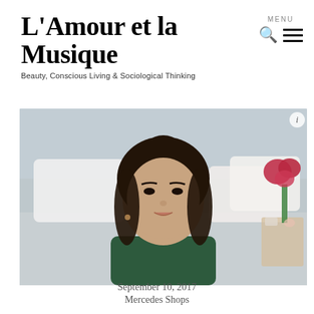L'Amour et la Musique
Beauty, Conscious Living & Sociological Thinking
[Figure (photo): Woman with dark hair in a bun, wearing a dark green top, sitting in front of a bed with white pillows and grey bedding. A vase with pink/red flowers is visible in the upper right. An info icon is in the top right corner of the image.]
September 10, 2017
Mercedes Shops